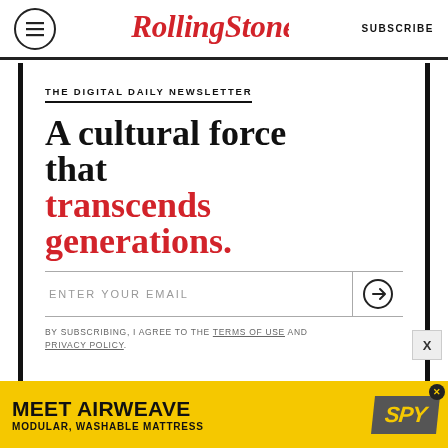Rolling Stone — SUBSCRIBE
THE DIGITAL DAILY NEWSLETTER
A cultural force that transcends generations.
ENTER YOUR EMAIL
BY SUBSCRIBING, I AGREE TO THE TERMS OF USE AND PRIVACY POLICY.
[Figure (infographic): Advertisement banner: MEET AIRWEAVE MODULAR, WASHABLE MATTRESS with SPY logo on yellow background]